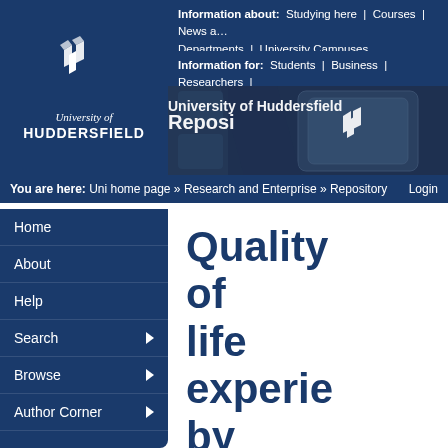[Figure (logo): University of Huddersfield logo with geometric icon and text]
Information about: Studying here | Courses | News a… Departments | University Campuses
Information for: Students | Business | Researchers | Staff
[Figure (photo): University of Huddersfield Repository banner with close-up photo of keyboard keys with university logo, text reads 'University of Huddersfield Reposi']
You are here: Uni home page » Research and Enterprise » Repository    Login
Home
About
Help
Search
Browse
Author Corner
Quality of life experie by patients